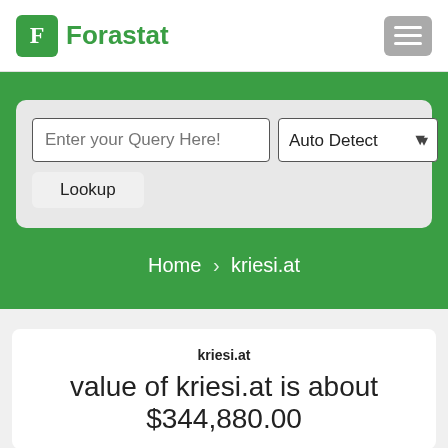Forastat
Enter your Query Here!
Auto Detect
Lookup
Home › kriesi.at
kriesi.at
value of kriesi.at is about $344,880.00